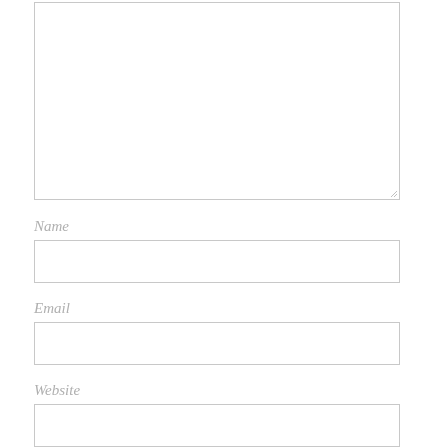[Figure (screenshot): Large empty textarea form field with a resize handle at the bottom-right corner]
Name
[Figure (screenshot): Single-line text input field for Name]
Email
[Figure (screenshot): Single-line text input field for Email]
Website
[Figure (screenshot): Single-line text input field for Website]